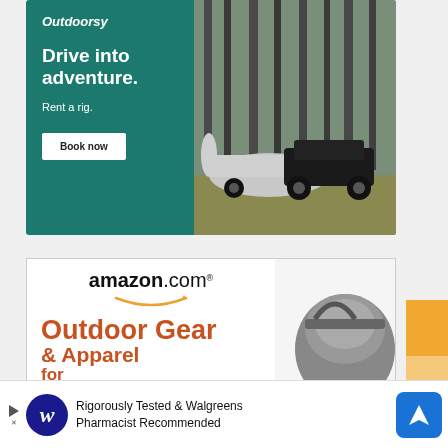[Figure (illustration): Outdoorsy advertisement banner. Left side has teal/dark green background with white logo text 'Outdoorsy', bold headline 'Drive into adventure.', subtext 'Rent a rig.', and a white 'Book now' button. Right side shows a photo of a black Jeep towing a silver Airstream trailer in a forest setting.]
[Figure (illustration): Amazon.com advertisement banner showing 'amazon.com' logo with orange arrow, large orange text 'Outdoor Gear & Apparel' with a partially visible outdoor gear bag image on the right side.]
[Figure (illustration): Walgreens banner ad at bottom: shows Walgreens italic W logo in blue circle, text 'Rigorously Tested & Walgreens Pharmacist Recommended', and a blue navigation/map icon on the right. Small play/skip button on left.]